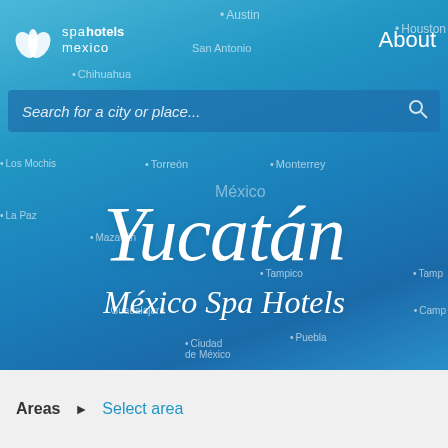[Figure (screenshot): Spa Hotels Mexico website screenshot showing a map of Mexico with Yucatan highlighted, a search bar, and navigation elements]
spa hotels mexico  About
Search for a city or place...
Yucatán
México Spa Hotels
Areas ► Select area